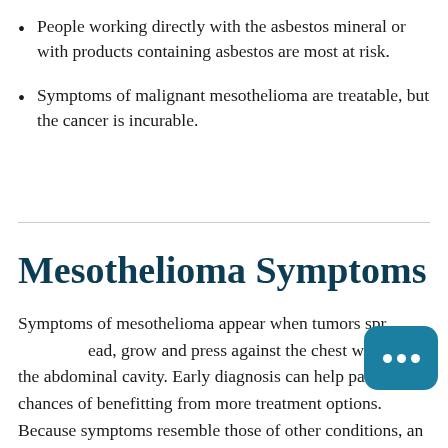People working directly with the asbestos mineral or with products containing asbestos are most at risk.
Symptoms of malignant mesothelioma are treatable, but the cancer is incurable.
Mesothelioma Symptoms
Symptoms of mesothelioma appear when tumors spread, grow and press against the chest wall and the abdominal cavity. Early diagnosis can help patients' chances of benefitting from more treatment options. Because symptoms resemble those of other conditions, an initial